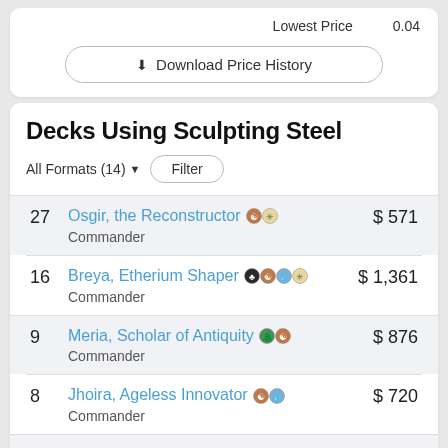Lowest Price   0.04
⬇ Download Price History
Decks Using Sculpting Steel
All Formats (14) ▼   Filter
| Count | Deck | Price |
| --- | --- | --- |
| 27 | Osgir, the Reconstructor [symbols] Commander | $571 |
| 16 | Breya, Etherium Shaper [symbols] Commander | $1,361 |
| 9 | Meria, Scholar of Antiquity [symbols] Commander | $876 |
| 8 | Jhoira, Ageless Innovator [symbols] Commander | $720 |
| 7 | Sharuum the Hegemon [symbols] | $1,021 |